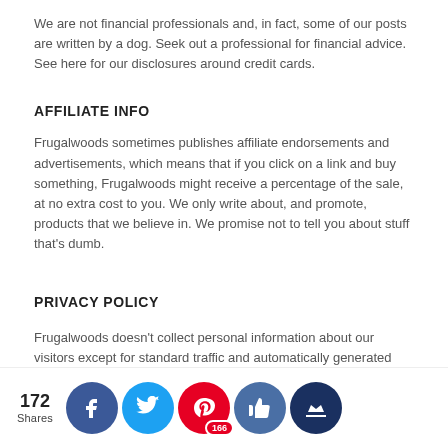We are not financial professionals and, in fact, some of our posts are written by a dog. Seek out a professional for financial advice. See here for our disclosures around credit cards.
AFFILIATE INFO
Frugalwoods sometimes publishes affiliate endorsements and advertisements, which means that if you click on a link and buy something, Frugalwoods might receive a percentage of the sale, at no extra cost to you. We only write about, and promote, products that we believe in. We promise not to tell you about stuff that's dumb.
PRIVACY POLICY
Frugalwoods doesn't collect personal information about our visitors except for standard traffic and automatically generated data by our server and Google Analytics. If you choose to leave a comment or